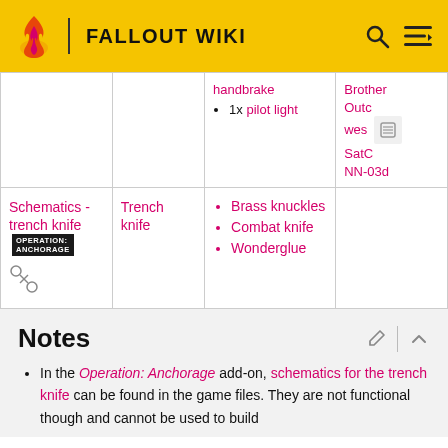FALLOUT WIKI
| Name | Weapon | Components | Location |
| --- | --- | --- | --- |
|  |  | handbrake
1x pilot light | Brotherhood
Outcast
western
SatCom
NN-03d |
| Schematics - trench knife [Anchorage] [scissors] | Trench knife | Brass knuckles
Combat knife
Wonderglue |  |
Notes
In the Operation: Anchorage add-on, schematics for the trench knife can be found in the game files. They are not functional though and cannot be used to build